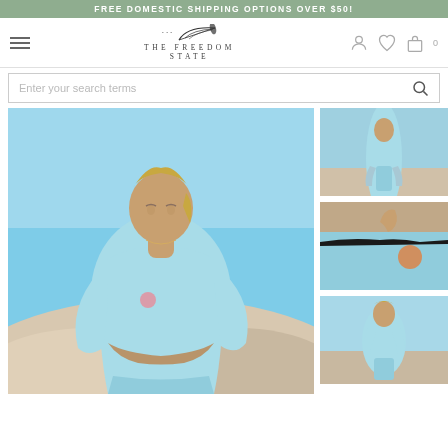FREE DOMESTIC SHIPPING OPTIONS OVER $50!
[Figure (logo): The Freedom State brand logo with feather illustration and text 'THE FREEDOM STATE']
Enter your search terms
[Figure (photo): Main large product photo: woman in light blue sweatshirt and matching shorts standing on sandy dunes under blue sky]
[Figure (photo): Thumbnail 1: woman in light blue outfit on sandy background]
[Figure (photo): Thumbnail 2: close-up of light blue shorts with a hand]
[Figure (photo): Thumbnail 3: woman in light blue outfit on beach]